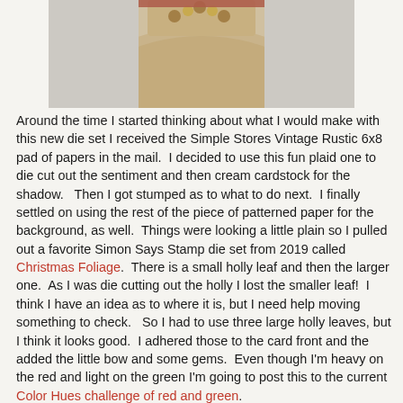[Figure (photo): Partial photo of a holiday craft item on a wood slice surface, with red and gold decorative elements at the top]
Around the time I started thinking about what I would make with this new die set I received the Simple Stores Vintage Rustic 6x8 pad of papers in the mail.  I decided to use this fun plaid one to die cut out the sentiment and then cream cardstock for the shadow.   Then I got stumped as to what to do next.  I finally settled on using the rest of the piece of patterned paper for the background, as well.  Things were looking a little plain so I pulled out a favorite Simon Says Stamp die set from 2019 called Christmas Foliage.  There is a small holly leaf and then the larger one.  As I was die cutting out the holly I lost the smaller leaf!  I think I have an idea as to where it is, but I need help moving something to check.   So I had to use three large holly leaves, but I think it looks good.  I adhered those to the card front and the added the little bow and some gems.  Even though I'm heavy on the red and light on the green I'm going to post this to the current Color Hues challenge of red and green.